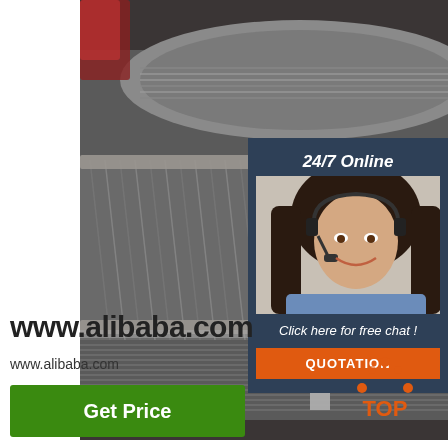[Figure (photo): Large spools of steel wire rod stacked in a warehouse/industrial setting, gray metallic wire coils]
[Figure (infographic): Dark blue/slate overlay panel with '24/7 Online' text, a customer service woman wearing headset, 'Click here for free chat!' text, and an orange QUOTATION button]
www.alibaba.com
www.alibaba.com
[Figure (other): Green 'Get Price' button]
[Figure (logo): Orange TOP logo with upward arrow triangle made of dots]